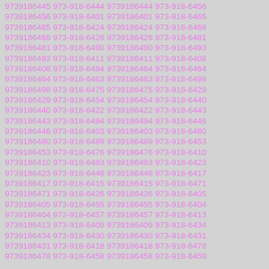9739186445 973-918-6444 9739186444 973-918-6456 9739186456 973-918-6401 9739186401 973-918-6465 9739186465 973-918-6424 9739186424 973-918-6468 9739186468 973-918-6428 9739186428 973-918-6481 9739186481 973-918-6490 9739186490 973-918-6493 9739186493 973-918-6411 9739186411 973-918-6408 9739186408 973-918-6484 9739186484 973-918-6464 9739186464 973-918-6463 9739186463 973-918-6498 9739186498 973-918-6475 9739186475 973-918-6429 9739186429 973-918-6454 9739186454 973-918-6440 9739186440 973-918-6422 9739186422 973-918-6443 9739186443 973-918-6494 9739186494 973-918-6446 9739186446 973-918-6403 9739186403 973-918-6480 9739186480 973-918-6489 9739186489 973-918-6453 9739186453 973-918-6476 9739186476 973-918-6410 9739186410 973-918-6483 9739186483 973-918-6423 9739186423 973-918-6448 9739186448 973-918-6417 9739186417 973-918-6415 9739186415 973-918-6471 9739186471 973-918-6426 9739186426 973-918-6405 9739186405 973-918-6455 9739186455 973-918-6404 9739186404 973-918-6457 9739186457 973-918-6413 9739186413 973-918-6409 9739186409 973-918-6434 9739186434 973-918-6430 9739186430 973-918-6431 9739186431 973-918-6418 9739186418 973-918-6478 9739186478 973-918-6458 9739186458 973-918-6459